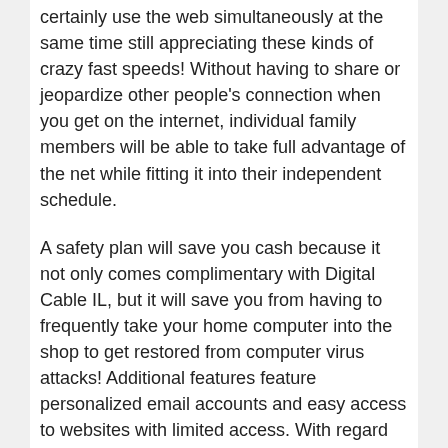certainly use the web simultaneously at the same time still appreciating these kinds of crazy fast speeds! Without having to share or jeopardize other people's connection when you get on the internet, individual family members will be able to take full advantage of the net while fitting it into their independent schedule.
A safety plan will save you cash because it not only comes complimentary with Digital Cable IL, but it will save you from having to frequently take your home computer into the shop to get restored from computer virus attacks! Additional features feature personalized email accounts and easy access to websites with limited access. With regard to an all-encompassing TV service,Illinois Digital Cable supplies Digital HDTV Service.
The only way to get more Illinois High Definition channels than ever possible before, and depending on the company some 3D channels like a variety of sports programs, you can simply take joy in the greatest quality TV all of the time! This is because customers of Illinois Digital Cable always get the finest this addition and much more of